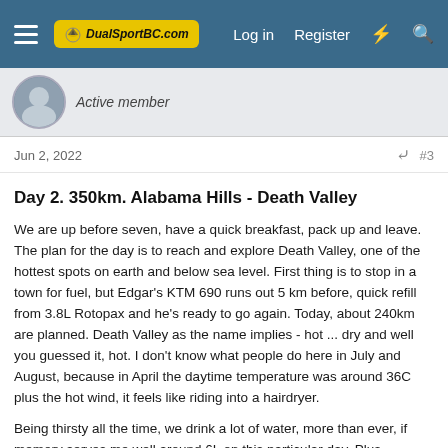DualSportBC.com — Log in  Register
Active member
Jun 2, 2022  #3
Day 2. 350km. Alabama Hills - Death Valley
We are up before seven, have a quick breakfast, pack up and leave. The plan for the day is to reach and explore Death Valley, one of the hottest spots on earth and below sea level. First thing is to stop in a town for fuel, but Edgar's KTM 690 runs out 5 km before, quick refill from 3.8L Rotopax and he's ready to go again. Today, about 240km are planned. Death Valley as the name implies - hot ... dry and well you guessed it, hot. I don't know what people do here in July and August, because in April the daytime temperature was around 36C plus the hot wind, it feels like riding into a hairdryer.
Being thirsty all the time, we drink a lot of water, more than ever, if memory serves me well around 6L on this particular day. Plus we are riding on a higher elevation, it goes better. To hint a d...